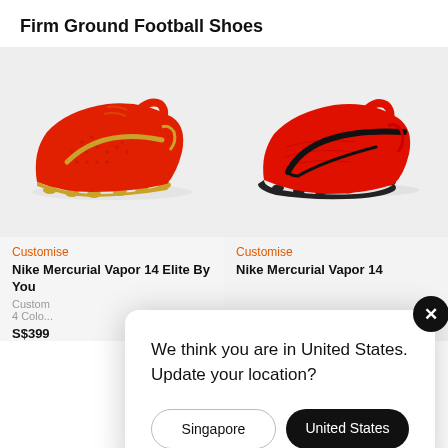Firm Ground Football Shoes
[Figure (photo): Nike Mercurial Vapor 14 Elite football boot in red and gold colorway, side view on light grey background]
[Figure (photo): Nike Mercurial Vapor 14 football boot in red and black colorway, side view on light grey background]
Customise
Nike Mercurial Vapor 14 Elite By You
Custom
4 Colours
S$399
Customise
Nike Mercurial Vapor 14
We think you are in United States. Update your location?
Singapore
United States